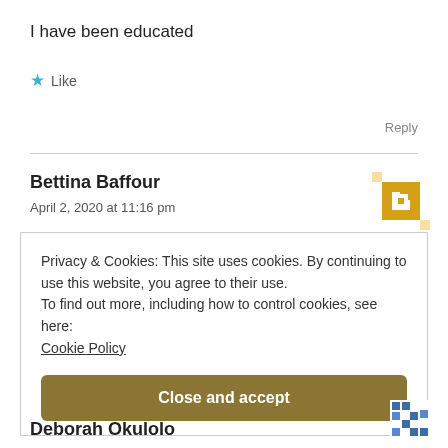I have been educated
★ Like
Reply
Bettina Baffour
April 2, 2020 at 11:16 pm
[Figure (illustration): Yellow/gold pixel-art style avatar icon for Bettina Baffour]
Privacy & Cookies: This site uses cookies. By continuing to use this website, you agree to their use.
To find out more, including how to control cookies, see here:
Cookie Policy
Close and accept
Deborah Okulolo
[Figure (illustration): Blue pixel-art style avatar icon for Deborah Okulolo]